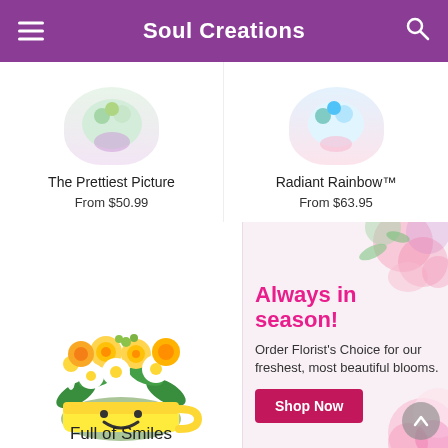Soul Creations
The Prettiest Picture
From $50.99
Radiant Rainbow™
From $63.95
[Figure (photo): Flower bouquet in yellow smiley face mug with yellow roses, white daisies, yellow mums and greenery]
Full of Smiles
[Figure (infographic): Always in season! Order Florist's Choice for our freshest, most beautiful blooms. Shop Now button with pink floral background.]